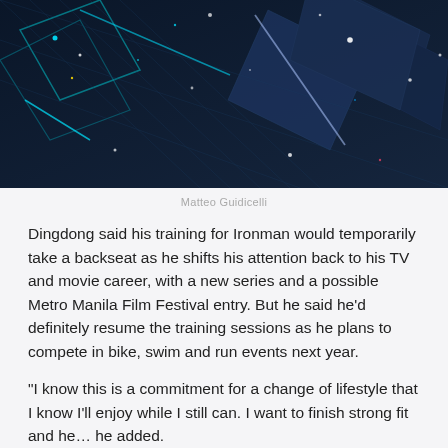[Figure (photo): Dark abstract technology background with glowing blue diamond/square shapes and light particles on a dark navy background]
Matteo Guidicelli
Dingdong said his training for Ironman would temporarily take a backseat as he shifts his attention back to his TV and movie career, with a new series and a possible Metro Manila Film Festival entry. But he said he’d definitely resume the training sessions as he plans to compete in bike, swim and run events next year.
“I know this is a commitment for a change of lifestyle that I know I’ll enjoy while I still can. I want to finish strong fit and he…” he added.